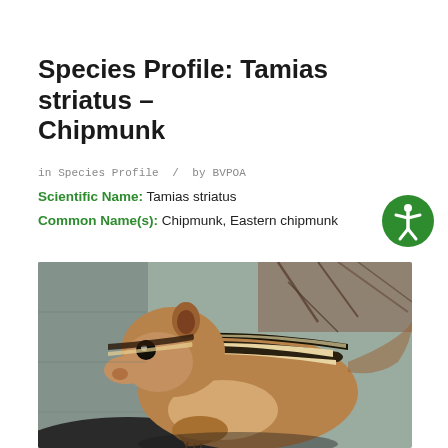Species Profile: Tamias striatus – Chipmunk
in Species Profile / by BVPOA
Scientific Name: Tamias striatus
Common Name(s): Chipmunk, Eastern chipmunk
[Figure (photo): Close-up photograph of an Eastern chipmunk (Tamias striatus) sitting on a stone surface, showing characteristic brown fur with black and white stripes along its back.]